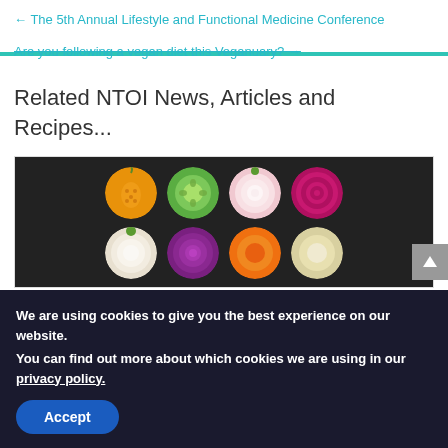← The 5th Annual Lifestyle and Functional Medicine Conference
Are you following a vegan diet this Veganuary? →
Related NTOI News, Articles and Recipes...
[Figure (photo): Cross-sectional slices of various vegetables including butternut squash, cucumber, onion, beetroot, and more arranged on a dark background]
We are using cookies to give you the best experience on our website.
You can find out more about which cookies we are using in our privacy policy.
Accept